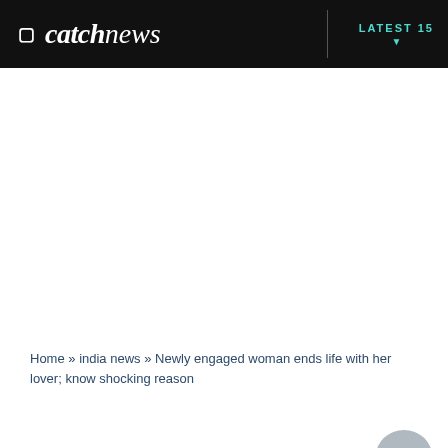catch news | LATEST 15
Home » india news » Newly engaged woman ends life with her lover; know shocking reason